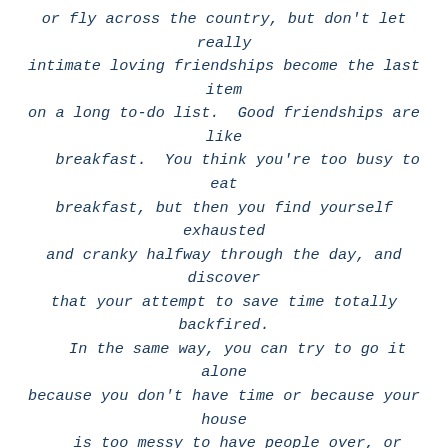or fly across the country, but don't let really intimate loving friendships become the last item on a long to-do list.  Good friendships are like breakfast.  You think you're too busy to eat breakfast, but then you find yourself exhausted and cranky halfway through the day, and discover that your attempt to save time totally backfired.  In the same way, you can try to go it alone because you don't have time or because your house is too messy to have people over, or because making new friends is like the very worst parts of dating.  But halfway through a hard day or a hard week, you'll realize in a flash that you're breathtakingly lonely, and that the Christmas cards aren't much company.  Get up, make a phone call, buy a cheap ticket, open your front door.
Because there really is nothing like good friends, like the sounds of their laughter and the tones of